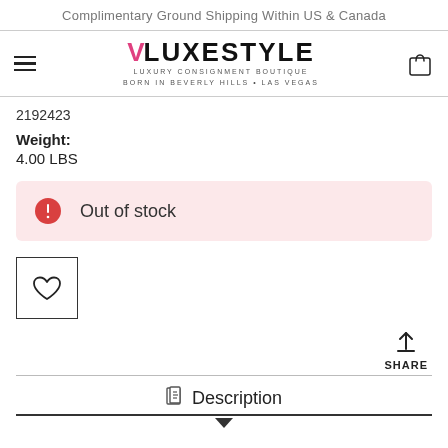Complimentary Ground Shipping Within US & Canada
[Figure (logo): VLUXESTYLE luxury consignment boutique logo, born in Beverly Hills and Las Vegas]
2192423
Weight: 4.00 LBS
Out of stock
[Figure (illustration): Wishlist heart icon button inside a square border]
SHARE
Description